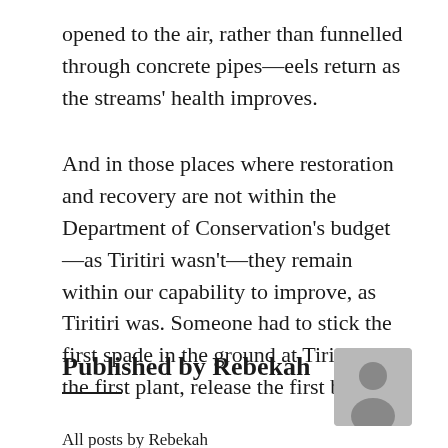opened to the air, rather than funnelled through concrete pipes—eels return as the streams' health improves.
And in those places where restoration and recovery are not within the Department of Conservation's budget—as Tiritiri wasn't—they remain within our capability to improve, as Tiritiri was. Someone had to stick the first spade in the ground at Tiri, plant the first plant, release the first bird.
Published by Rebekah
All posts by Rebekah